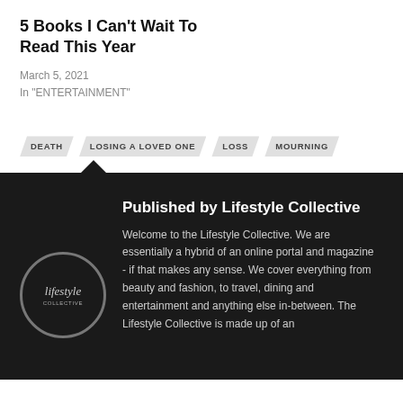5 Books I Can't Wait To Read This Year
March 5, 2021
In "ENTERTAINMENT"
DEATH
LOSING A LOVED ONE
LOSS
MOURNING
Published by Lifestyle Collective
Welcome to the Lifestyle Collective. We are essentially a hybrid of an online portal and magazine - if that makes any sense. We cover everything from beauty and fashion, to travel, dining and entertainment and anything else in-between. The Lifestyle Collective is made up of an